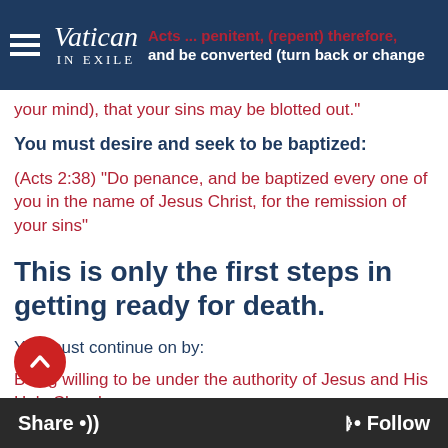Vatican in Exile
Acts ... penitent, (repent) therefore, and be converted (turn back or change your mind), that your sins may be blotted out."
You must desire and seek to be baptized:
(Acts 2:38) "Do penance, and be baptized every one of you in the name of Jesus Christ, for the remission of your sins"
This is only the first steps in getting ready for death.
You must continue on by:
Being willing to be under the authority of Jesus and His Holy Church.
Share •)) (( Follow